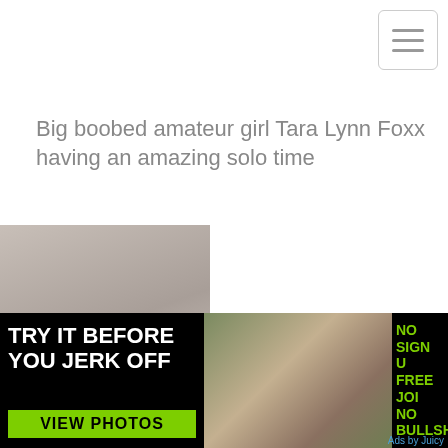Big boobed amateur girl Tara Lynn Foxx having an amazing solo time
[Figure (photo): Thumbnail image with PLAY NOW button overlay]
Copyright © miyuhot.com
miyuhot.com Sitemap XML robots.txt Contact/Report form
[Figure (infographic): Ad banner: TRY IT BEFORE YOU JERK OFF / VIEW PHOTOS / NO SIGN UP FREE JOIN NO BULLSHI* / Ads by Juicy]